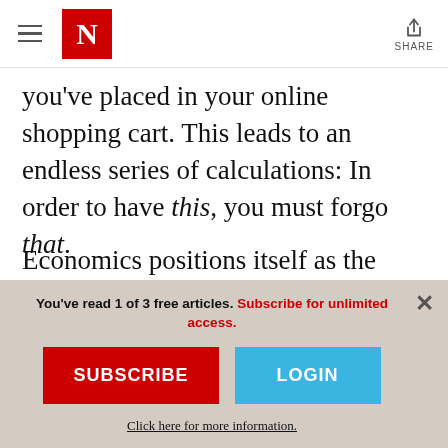N | SHARE
you've placed in your online shopping cart. This leads to an endless series of calculations: In order to have this, you must forgo that.
Economics positions itself as the study of how the choices we make under the constraints of scarcity facilitate the allocation of our productive capacities. Every gain in economic
You've read 1 of 3 free articles. Subscribe for unlimited access.
SUBSCRIBE
LOGIN
Click here for more information.